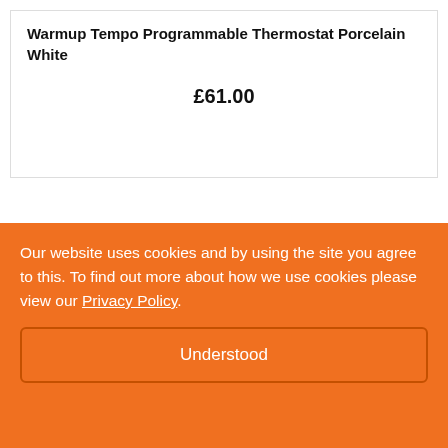Warmup Tempo Programmable Thermostat Porcelain White
£61.00
[Figure (logo): LUTEC brand logo with stylized green leaf on the letter C]
Our website uses cookies and by using the site you agree to this. To find out more about how we use cookies please view our Privacy Policy.
Understood